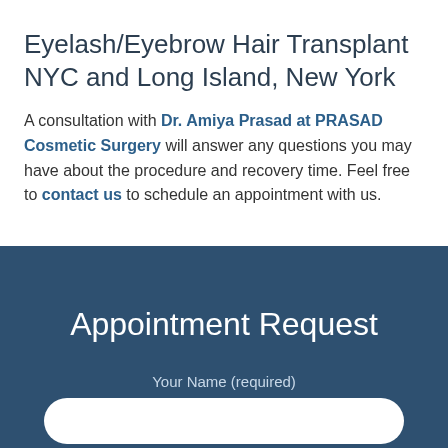Eyelash/Eyebrow Hair Transplant NYC and Long Island, New York
A consultation with Dr. Amiya Prasad at PRASAD Cosmetic Surgery will answer any questions you may have about the procedure and recovery time. Feel free to contact us to schedule an appointment with us.
Appointment Request
Your Name (required)